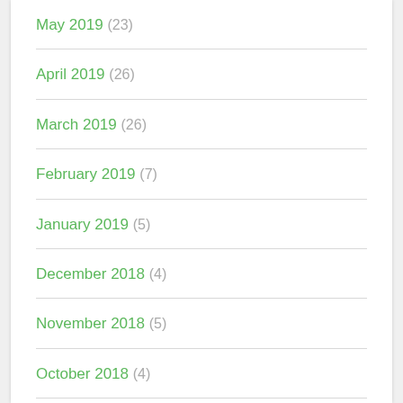May 2019 (23)
April 2019 (26)
March 2019 (26)
February 2019 (7)
January 2019 (5)
December 2018 (4)
November 2018 (5)
October 2018 (4)
September 2018 (4)